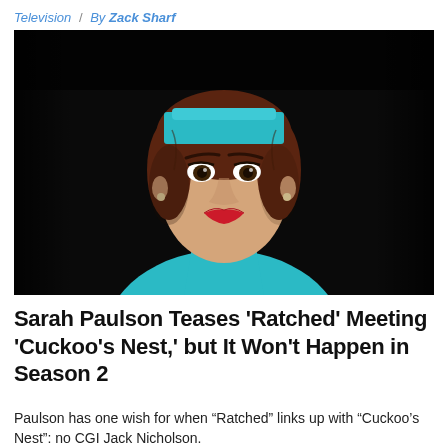Television  /  By Zack Sharf
[Figure (photo): Close-up portrait of a woman dressed as a nurse in a teal/cyan uniform and matching nurse cap, dark background, dramatic lighting, red lipstick, serious expression]
Sarah Paulson Teases 'Ratched' Meeting 'Cuckoo’s Nest,' but It Won’t Happen in Season 2
Paulson has one wish for when “Ratched” links up with “Cuckoo’s Nest”: no CGI Jack Nicholson.